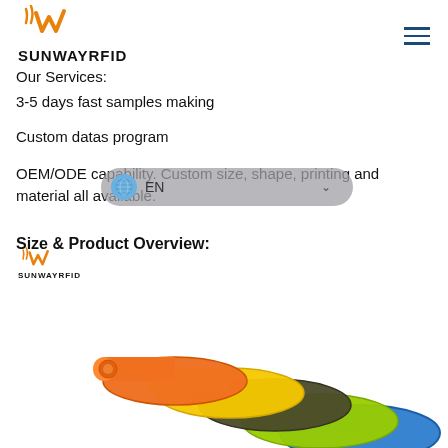SUNWAYRFID
Our Services:
3-5 days fast samples making
Custom datas program
OEM/ODE capability. Custom size, shape, printing and material all available.
Size & Product Overview:
[Figure (logo): SUNWAYRFID logo with orange wave/check icon and black text]
[Figure (photo): Colorful silicone RFID wristbands in orange, yellow, dark green/grey, yellow-green, blue and other colors stacked together]